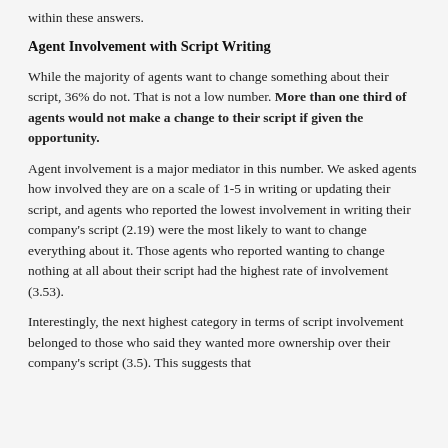within these answers.
Agent Involvement with Script Writing
While the majority of agents want to change something about their script, 36% do not. That is not a low number. More than one third of agents would not make a change to their script if given the opportunity.
Agent involvement is a major mediator in this number. We asked agents how involved they are on a scale of 1-5 in writing or updating their script, and agents who reported the lowest involvement in writing their company's script (2.19) were the most likely to want to change everything about it. Those agents who reported wanting to change nothing at all about their script had the highest rate of involvement (3.53).
Interestingly, the next highest category in terms of script involvement belonged to those who said they wanted more ownership over their company's script (3.5). This suggests that